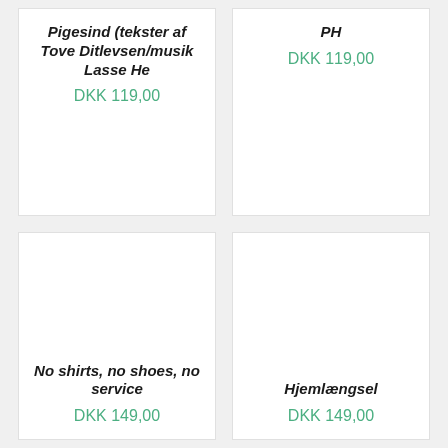Pigesind (tekster af Tove Ditlevsen/musik Lasse He
DKK 119,00
PH
DKK 119,00
No shirts, no shoes, no service
DKK 149,00
Hjemlængsel
DKK 149,00